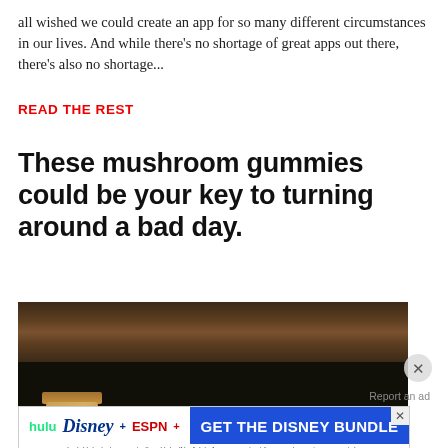all wished we could create an app for so many different circumstances in our lives. And while there's no shortage of great apps out there, there's also no shortage...
READ THE REST
These mushroom gummies could be your key to turning around a bad day.
[Figure (photo): Dark atmospheric photo showing wooden shelf with amber/gold glass jars against a very dark background]
Report an ad
[Figure (infographic): Disney Bundle advertisement banner with Hulu, Disney+ and ESPN+ logos and 'GET THE DISNEY BUNDLE' call to action. Fine print: Incl. Hulu (ad-supported) or Hulu (No Ads). Access content from each service separately. ©2021 Disney and its related entities]